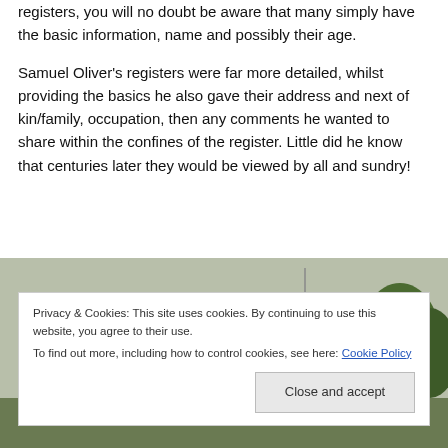registers, you will no doubt be aware that many simply have the basic information, name and possibly their age.
Samuel Oliver's registers were far more detailed, whilst providing the basics he also gave their address and next of kin/family, occupation, then any comments he wanted to share within the confines of the register. Little did he know that centuries later they would be viewed by all and sundry!
[Figure (photo): Photograph of a stone castle or church building with battlements, partially visible, with trees to the right side]
Privacy & Cookies: This site uses cookies. By continuing to use this website, you agree to their use.
To find out more, including how to control cookies, see here: Cookie Policy